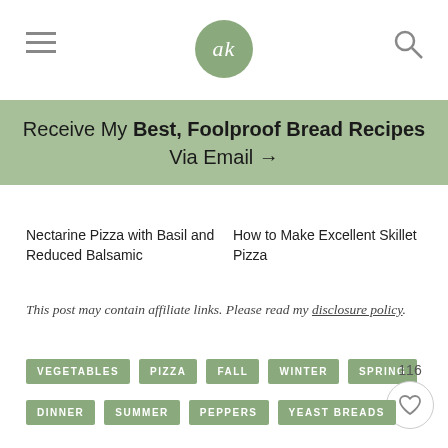ak (logo) — navigation header with menu and search icons
Receive My Best, Foolproof Bread Recipes Via Email →
Nectarine Pizza with Basil and Reduced Balsamic
How to Make Excellent Skillet Pizza
This post may contain affiliate links. Please read my disclosure policy.
VEGETABLES
PIZZA
FALL
WINTER
SPRING
DINNER
SUMMER
PEPPERS
YEAST BREADS